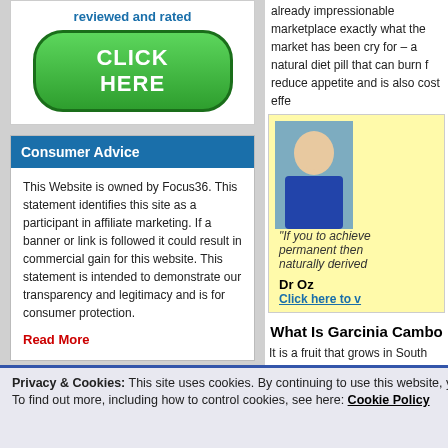reviewed and rated
[Figure (illustration): Green rounded button with white text 'CLICK HERE']
Consumer Advice
This Website is owned by Focus36. This statement identifies this site as a participant in affiliate marketing. If a banner or link is followed it could result in commercial gain for this website. This statement is intended to demonstrate our transparency and legitimacy and is for consumer protection.
Read More
already impressionable marketplace exactly what the market has been crying for – a natural diet pill that can burn fat, reduce appetite and is also cost effe...
[Figure (photo): Photo of Dr Oz in blue scrubs with arms crossed]
"If you to achieve permanent then naturally derived..."
Dr Oz
Click here to v...
What Is Garcinia Cambo...
It is a fruit that grows in South East Asia (commonly Indonesia) – it is either yellow, pink or green and looks very similar to a pumpkin albiet a smaller version.
It is also commonly known as tamarin... di... supplementation but the extract. The... contains Hydroxycitric Acid (HCA) wh... tremendous benefits to the weight los...
Watch Dr Oz talk to Julie Chen abou...
Recent Diet Articles
DBAL MAX Canada – Legal Steroid for Building Muscle
LeanBean Fat Burner For Women
Skinny Body Max Review
Privacy & Cookies: This site uses cookies. By continuing to use this website, you agree to their use.
To find out more, including how to control cookies, see here: Cookie Policy
Close and accept